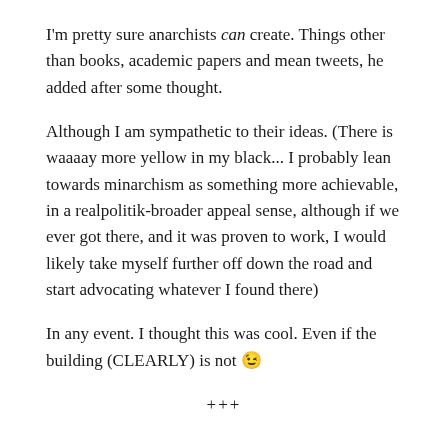I'm pretty sure anarchists can create. Things other than books, academic papers and mean tweets, he added after some thought.
Although I am sympathetic to their ideas. (There is waaaay more yellow in my black... I probably lean towards minarchism as something more achievable, in a realpolitik-broader appeal sense, although if we ever got there, and it was proven to work, I would likely take myself further off down the road and start advocating whatever I found there)
In any event. I thought this was cool. Even if the building (CLEARLY) is not 😉
+++